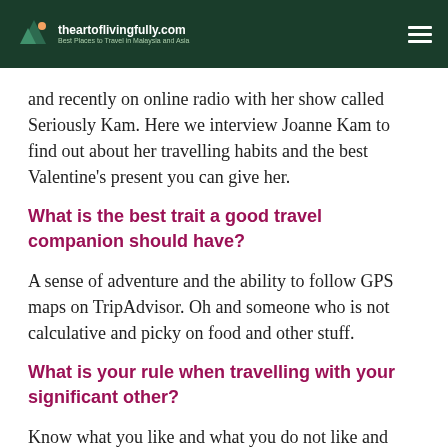theartoflivingfully.com — Best Places to Travel in Malaysia and Asia
and recently on online radio with her show called Seriously Kam. Here we interview Joanne Kam to find out about her travelling habits and the best Valentine's present you can give her.
What is the best trait a good travel companion should have?
A sense of adventure and the ability to follow GPS maps on TripAdvisor. Oh and someone who is not calculative and picky on food and other stuff.
What is your rule when travelling with your significant other?
Know what you like and what you do not like and ensure you don't over compromise on what you prefer to do. My